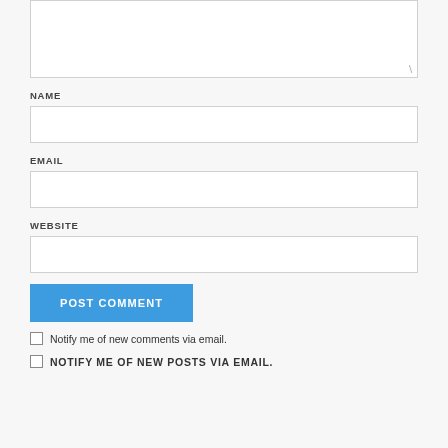[Figure (screenshot): Comment textarea input box with resize handle in bottom-right corner]
NAME
[Figure (screenshot): Name input field text box]
EMAIL
[Figure (screenshot): Email input field text box]
WEBSITE
[Figure (screenshot): Website input field text box]
POST COMMENT
Notify me of new comments via email.
NOTIFY ME OF NEW POSTS VIA EMAIL.